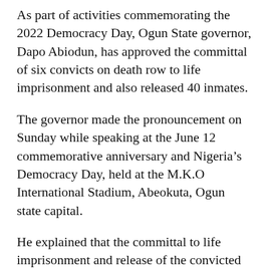As part of activities commemorating the 2022 Democracy Day, Ogun State governor, Dapo Abiodun, has approved the committal of six convicts on death row to life imprisonment and also released 40 inmates.
The governor made the pronouncement on Sunday while speaking at the June 12 commemorative anniversary and Nigeria’s Democracy Day, held at the M.K.O International Stadium, Abeokuta, Ogun state capital.
He explained that the committal to life imprisonment and release of the convicted inmates is in accordance with the provisions of Sections 212 (1) and (2) of the Constitution of the Federal Republic of Nigeria, 1999, (as amended) and Sections 4 and 5 of the Ogun State Advisory Council on Prerogative of Mercy (Establishment Law), Laws of